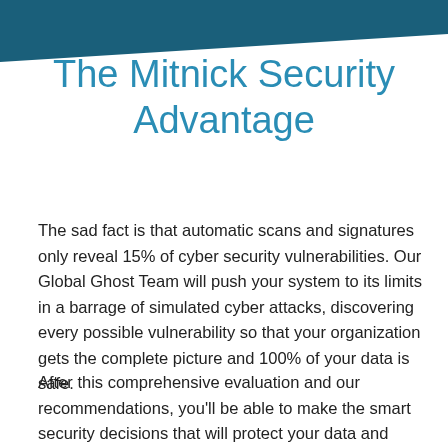The Mitnick Security Advantage
The sad fact is that automatic scans and signatures only reveal 15% of cyber security vulnerabilities. Our Global Ghost Team will push your system to its limits in a barrage of simulated cyber attacks, discovering every possible vulnerability so that your organization gets the complete picture and 100% of your data is safe.
After this comprehensive evaluation and our recommendations, you'll be able to make the smart security decisions that will protect your data and keep your company out of the headlines.